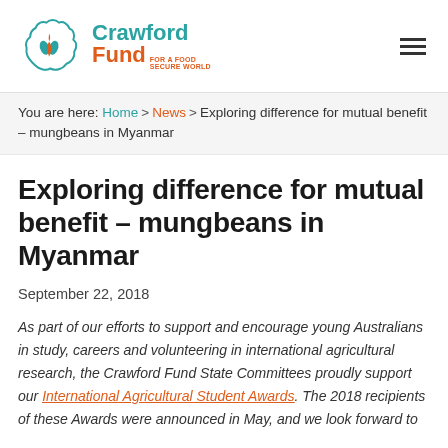Crawford Fund For A Food Secure World
You are here: Home > News > Exploring difference for mutual benefit – mungbeans in Myanmar
Exploring difference for mutual benefit – mungbeans in Myanmar
September 22, 2018
As part of our efforts to support and encourage young Australians in study, careers and volunteering in international agricultural research, the Crawford Fund State Committees proudly support our International Agricultural Student Awards. The 2018 recipients of these Awards were announced in May, and we look forward to